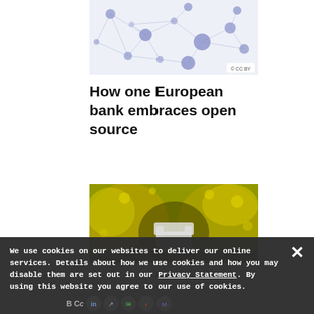[Figure (illustration): Network graph visualization with blue dots and connecting lines on white background, with Creative Commons license badge in bottom right corner]
How one European bank embraces open source
[Figure (photo): Outdoor photograph showing a white bench or chair surrounded by dense yellow-green foliage/flowers, with golden yellow lighting]
We use cookies on our websites to deliver our online services. Details about how we use cookies and how you may disable them are set out in our Privacy Statement. By using this website you agree to our use of cookies.